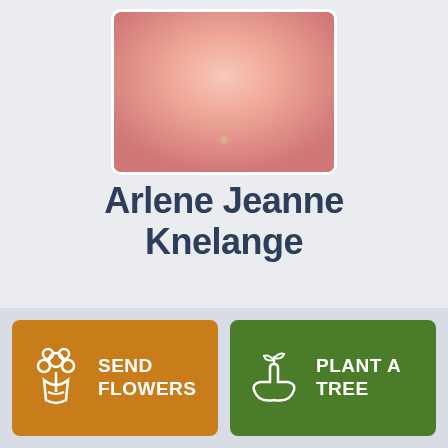[Figure (photo): Partial portrait photo of Arlene Jeanne Knelange, cropped to show neck and lower face area with a necklace, pink outfit]
Arlene Jeanne Knelange
August 8, 2014
Share
SEND FLOWERS
PLANT A TREE